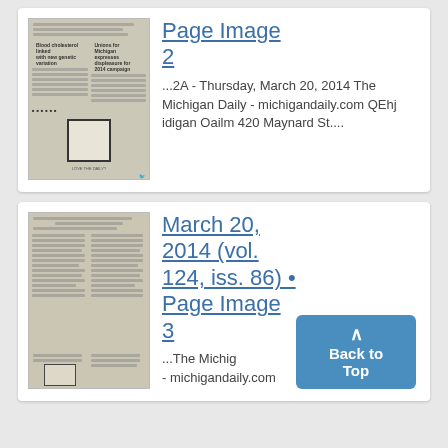[Figure (screenshot): Thumbnail of newspaper page image 2, The Michigan Daily, March 20, 2014]
Page Image 2
...2A - Thursday, March 20, 2014 The Michigan Daily - michigandaily.com QEhj idigan Oailm 420 Maynard St....
[Figure (screenshot): Thumbnail of newspaper page image 3, The Michigan Daily, March 20, 2014]
March 20, 2014 (vol. 124, iss. 86) • Page Image 3
...The Michig - michigandaily.com